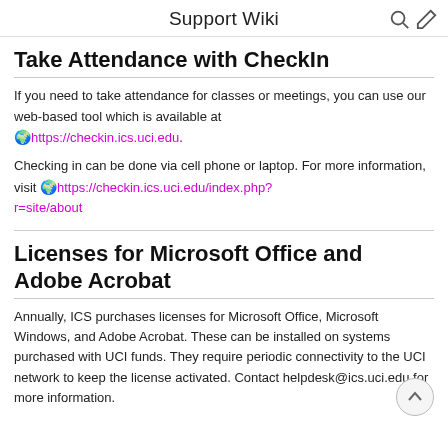Support Wiki
Take Attendance with CheckIn
If you need to take attendance for classes or meetings, you can use our web-based tool which is available at 🌍https://checkin.ics.uci.edu.
Checking in can be done via cell phone or laptop. For more information, visit 🌍https://checkin.ics.uci.edu/index.php?r=site/about
Licenses for Microsoft Office and Adobe Acrobat
Annually, ICS purchases licenses for Microsoft Office, Microsoft Windows, and Adobe Acrobat. These can be installed on systems purchased with UCI funds. They require periodic connectivity to the UCI network to keep the license activated. Contact helpdesk@ics.uci.edu for more information.